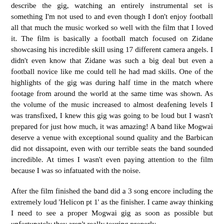describe the gig, watching an entirely instrumental set is something I'm not used to and even though I don't enjoy football all that much the music worked so well with the film that I loved it. The film is basically a football match focused on Zidane showcasing his incredible skill using 17 different camera angels. I didn't even know that Zidane was such a big deal but even a football novice like me could tell he had mad skills. One of the highlights of the gig was during half time in the match where footage from around the world at the same time was shown. As the volume of the music increased to almost deafening levels I was transfixed, I knew this gig was going to be loud but I wasn't prepared for just how much, it was amazing! A band like Mogwai deserve a venue with exceptional sound quality and the Barbican did not dissapoint, even with our terrible seats the band sounded incredible. At times I wasn't even paying attention to the film because I was so infatuated with the noise.
After the film finished the band did a 3 song encore including the extremely loud 'Helicon pt 1' as the finisher. I came away thinking I need to see a proper Mogwai gig as soon as possible but unfortunately they aren't really touring properly